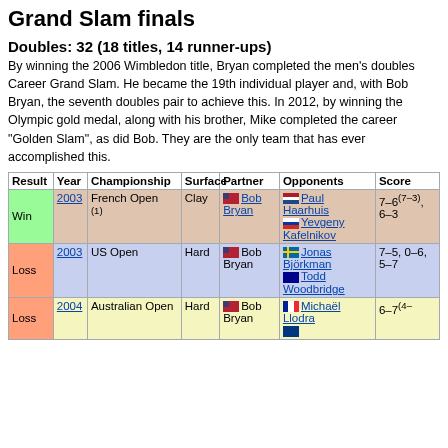Grand Slam finals
Doubles: 32 (18 titles, 14 runner-ups)
By winning the 2006 Wimbledon title, Bryan completed the men's doubles Career Grand Slam. He became the 19th individual player and, with Bob Bryan, the seventh doubles pair to achieve this. In 2012, by winning the Olympic gold medal, along with his brother, Mike completed the career "Golden Slam", as did Bob. They are the only team that has ever accomplished this.
| Result | Year | Championship | Surface | Partner | Opponents | Score |
| --- | --- | --- | --- | --- | --- | --- |
| Win | 2003 | French Open (1) | Clay | Bob Bryan | Paul Haarhuis / Yevgeny Kafelnikov | 7–6(7–3), 6–3 |
| Loss | 2003 | US Open | Hard | Bob Bryan | Jonas Björkman / Todd Woodbridge | 7–5, 0–6, 5–7 |
| Loss | 2004 | Australian Open | Hard | Bob Bryan | Michaël Llodra / ... | 6–7(4–... |